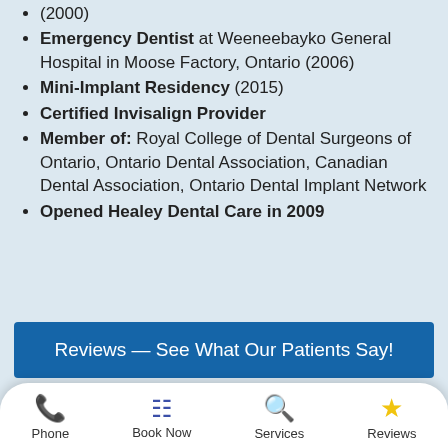(2000)
Emergency Dentist at Weeneebayko General Hospital in Moose Factory, Ontario (2006)
Mini-Implant Residency (2015)
Certified Invisalign Provider
Member of: Royal College of Dental Surgeons of Ontario, Ontario Dental Association, Canadian Dental Association, Ontario Dental Implant Network
Opened Healey Dental Care in 2009
Reviews — See What Our Patients Say!
[Figure (logo): RateMDs logo with teal heartbeat icon and RateMDs text in teal]
155+ Reviews
There is a reason why Dr.
Phone | Book Now | Services | Reviews (bottom navigation bar)